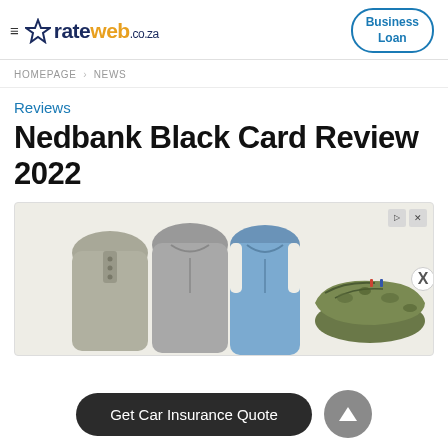≡ ☆ rateweb.co.za | Business Loan
HOMEPAGE › NEWS
Reviews
Nedbank Black Card Review 2022
[Figure (photo): Advertisement banner showing grey hooded sweatshirts/tops and a camouflage sneaker, with close and skip controls]
Get Car Insurance Quote